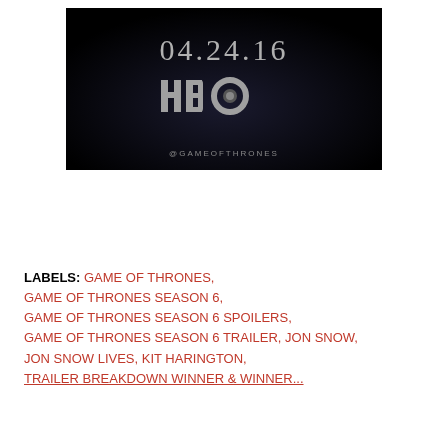[Figure (photo): Dark background image showing the text '04.24.16' in light gray at top, HBO logo in the center, and '@GAMEOFTHRONES' at the bottom — a Game of Thrones Season 6 premiere date announcement card.]
LABELS: GAME OF THRONES, GAME OF THRONES SEASON 6, GAME OF THRONES SEASON 6 SPOILERS, GAME OF THRONES SEASON 6 TRAILER, JON SNOW, JON SNOW LIVES, KIT HARINGTON, TRAILER BREAKDOWN WINNER & WINNER...